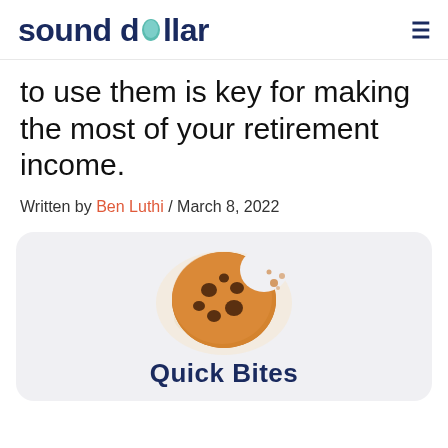sound dollar
to use them is key for making the most of your retirement income.
Written by Ben Luthi / March 8, 2022
[Figure (illustration): Illustrated chocolate chip cookie with a bite taken out, watercolor style, above a 'Quick Bites' card section]
Quick Bites